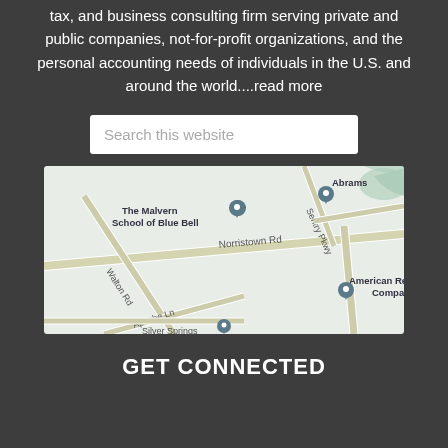tax, and business consulting firm serving private and public companies, not-for-profit organizations, and the personal accounting needs of individuals in the U.S. and around the world....read more
[Figure (screenshot): Search box with placeholder text 'Search this website']
[Figure (map): Google map showing area near Norristown Rd with pins for The Malvern School of Blue Bell, American Reading Company, and Abrams. Roads visible: Walton Rd, Apache Ln, Sentry Pkwy, Silver Springs.]
GET CONNECTED